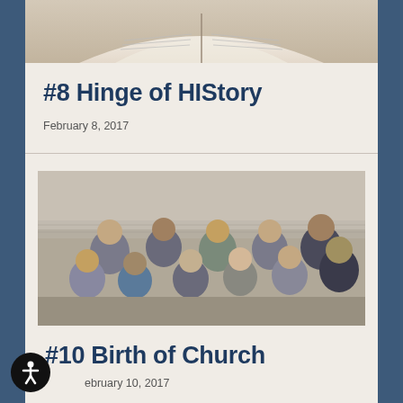[Figure (photo): Open book photographed from above showing pages]
#8 Hinge of HIStory
February 8, 2017
[Figure (photo): Group photo of approximately 11 young adults sitting outdoors in front of a stone wall, some smiling at the camera]
#10 Birth of Church
February 10, 2017